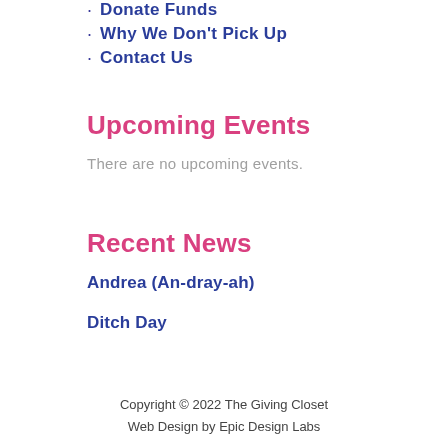Donate Funds
Why We Don't Pick Up
Contact Us
Upcoming Events
There are no upcoming events.
Recent News
Andrea (An-dray-ah)
Ditch Day
Copyright © 2022 The Giving Closet
Web Design by Epic Design Labs